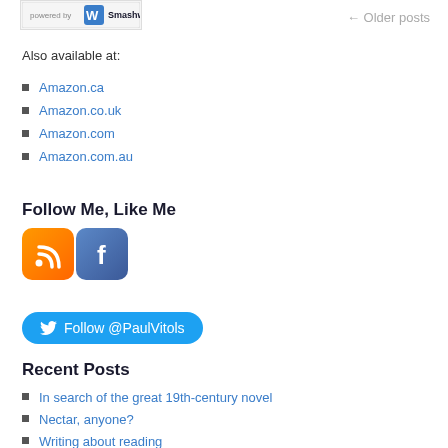[Figure (screenshot): Smashwords powered by badge/widget in top-left corner]
← Older posts
Also available at:
Amazon.ca
Amazon.co.uk
Amazon.com
Amazon.com.au
Follow Me, Like Me
[Figure (logo): RSS feed icon (orange square with white RSS symbol) and Facebook icon (blue square with white f)]
[Figure (other): Twitter Follow @PaulVitols button]
Recent Posts
In search of the great 19th-century novel
Nectar, anyone?
Writing about reading
Are you to be one of the new poor?
Earth at the crossroads
Slaying Dragons by Charles D. Fraune: